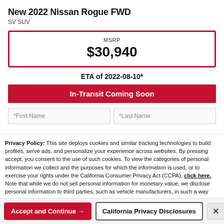New 2022 Nissan Rogue FWD
SV SUV
MSRP $30,940
ETA of 2022-08-10*
In-Transit Coming Soon
*First Name
*Last Name
Privacy Policy: This site deploys cookies and similar tracking technologies to build profiles, serve ads, and personalize your experience across websites. By pressing accept, you consent to the use of such cookies. To view the categories of personal information we collect and the purposes for which the information is used, or to exercise your rights under the California Consumer Privacy Act (CCPA), click here. Note that while we do not sell personal information for monetary value, we disclose personal information to third parties, such as vehicle manufacturers, in such a way that may be considered a "sale" of personal information under the CCPA. To direct us to stop the sale of your personal information, or to re-access these settings or disclosures at anytime, click the following icon or link:
Do Not Sell My Personal Information
Language: English
Powered by ComplyAuto
Accept and Continue →
California Privacy Disclosures